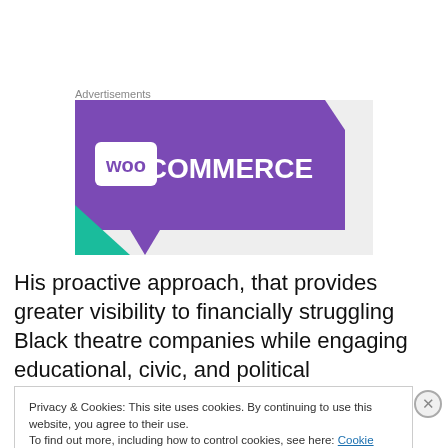Advertisements
[Figure (logo): WooCommerce advertisement banner with purple background, white 'woo' logo box and 'COMMERCE' text, teal triangle accent at bottom left]
His proactive approach, that provides greater visibility to financially struggling Black theatre companies while engaging educational, civic, and political organizations in
Privacy & Cookies: This site uses cookies. By continuing to use this website, you agree to their use.
To find out more, including how to control cookies, see here: Cookie Policy
Close and accept